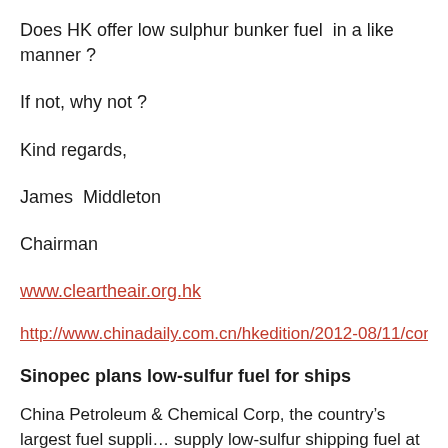Does HK offer low sulphur bunker fuel in a like manner ?
If not, why not ?
Kind regards,
James Middleton
Chairman
www.cleartheair.org.hk
http://www.chinadaily.com.cn/hkedition/2012-08/11/content_15664641...
Sinopec plans low-sulfur fuel for ships
China Petroleum & Chemical Corp, the country's largest fuel supplier, plans to supply low-sulfur shipping fuel at Chinese ports as ships sailing to the US and Canada are required to burn the cleaner fuel.
Sinopec, as China Petroleum is known, is arranging barges, tanks a...